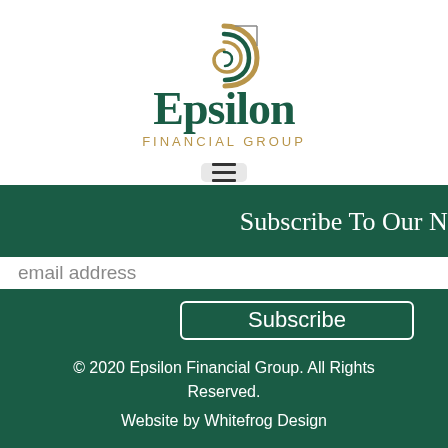[Figure (logo): Epsilon Financial Group logo with spiral shell graphic above the company name]
Epsilon FINANCIAL GROUP
[Figure (other): Hamburger menu button with three horizontal lines]
Subscribe To Our New
email address
Subscribe
© 2020 Epsilon Financial Group. All Rights Reserved.
Website by Whitefrog Design